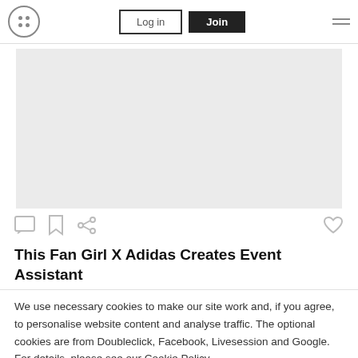Log in | Join
[Figure (illustration): Large light grey placeholder image/hero area]
Comment, Bookmark, Share, and Like action icons
This Fan Girl X Adidas Creates Event Assistant
We use necessary cookies to make our site work and, if you agree, to personalise website content and analyse traffic. The optional cookies are from Doubleclick, Facebook, Livesession and Google. For details, please see our Cookie Policy.